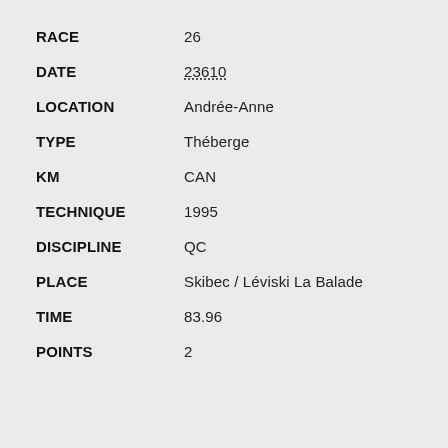| Field | Value |
| --- | --- |
| RACE | 26 |
| DATE | 23610 |
| LOCATION | Andrée-Anne |
| TYPE | Théberge |
| KM | CAN |
| TECHNIQUE | 1995 |
| DISCIPLINE | QC |
| PLACE | Skibec / Léviski La Balade |
| TIME | 83.96 |
| POINTS | 2 |